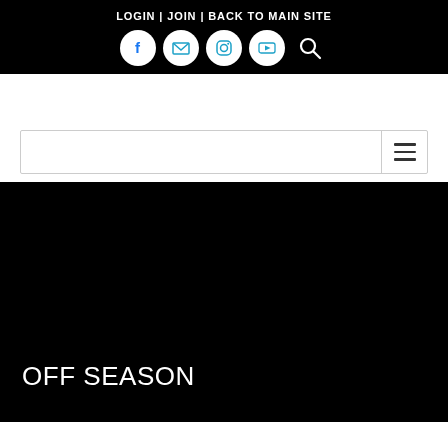LOGIN | JOIN | BACK TO MAIN SITE
[Figure (other): Social media icons: Facebook, Email, Instagram, YouTube circles, and a search magnifying glass icon]
[Figure (other): Navigation menu bar with hamburger menu icon on the right]
OFF SEASON